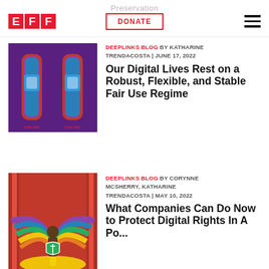Preservation | DONATE | EFF
[Figure (illustration): EFF logo with three red letter blocks spelling EFF, a DONATE button with red border, and a hamburger menu icon]
[Figure (illustration): Purple background with two pill/battery shapes in red, blue and pink stripes, labeled FAIR USE and FAIR USE]
DEEPLINKS BLOG BY KATHARINE TRENDACOSTA | JUNE 17, 2022
Our Digital Lives Rest on a Robust, Flexible, and Stable Fair Use Regime
[Figure (illustration): Person holding a shield with crossed wrenches, standing in front of a rainbow on red curtain background]
DEEPLINKS BLOG BY CORYNNE MCSHERRY, KATHARINE TRENDACOSTA | MAY 10, 2022
What Companies Can Do Now to Protect Digital Rights In A Po...